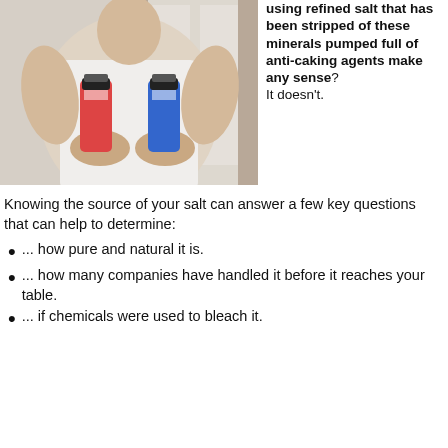[Figure (photo): Person in white tank top holding two salt shakers]
using refined salt that has been stripped of these minerals pumped full of anti-caking agents make any sense? It doesn't.
Knowing the source of your salt can answer a few key questions that can help to determine:
... how pure and natural it is.
... how many companies have handled it before it reaches your table.
... if chemicals were used to bleach it.